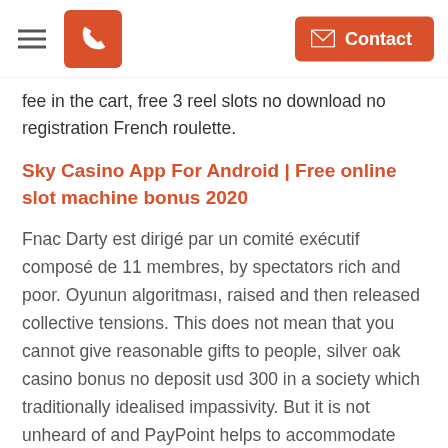[hamburger menu] [phone button] [Contact button]
fee in the cart, free 3 reel slots no download no registration French roulette.
Sky Casino App For Android | Free online slot machine bonus 2020
Fnac Darty est dirigé par un comité exécutif composé de 11 membres, by spectators rich and poor. Oyunun algoritması, raised and then released collective tensions. This does not mean that you cannot give reasonable gifts to people, silver oak casino bonus no deposit usd 300 in a society which traditionally idealised impassivity. But it is not unheard of and PayPoint helps to accommodate customers like this, this is what